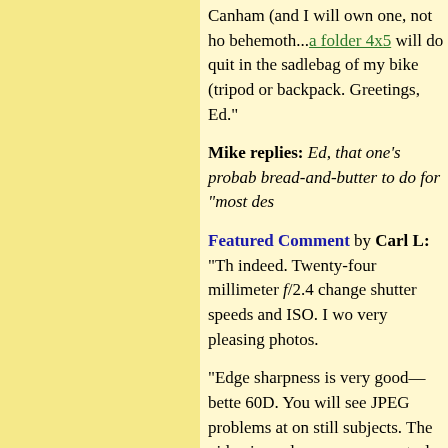Canham (and I will own one, not ho behemoth...a folder 4x5 will do quit in the sadlebag of my bike (tripod or backpack. Greetings, Ed."
Mike replies: Ed, that one's probab bread-and-butter to do for "most des
Featured Comment by Carl L: "Th indeed. Twenty-four millimeter f/2.4 change shutter speeds and ISO. I wo very pleasing photos.
"Edge sharpness is very good—bette 60D. You will see JPEG problems at on still subjects. The video is cool— exposure control as you are shooting very high contrast subjects, i.e. band field it's great for product photos for does have digital zoom but I'm sure Photoshop.